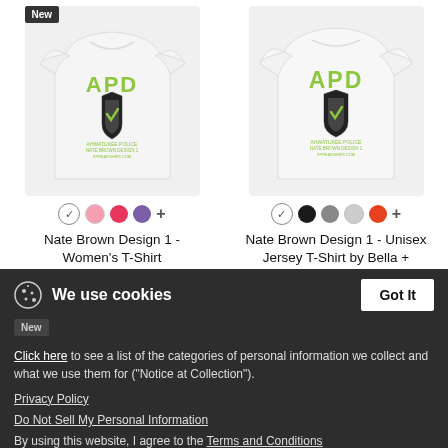[Figure (photo): Two white t-shirts with APD (Ahwatukee Police Department) logo design in green. Left shirt is women's fitted style, right is unisex jersey style. Each shown with color swatches below.]
Nate Brown Design 1 - Women's T-Shirt
$21.99
Nate Brown Design 1 - Unisex Jersey T-Shirt by Bella + Canvas
$24.49
We use cookies
Got It
Click here to see a list of the categories of personal information we collect and what we use them for ("Notice at Collection").
Privacy Policy
Do Not Sell My Personal Information
By using this website, I agree to the Terms and Conditions